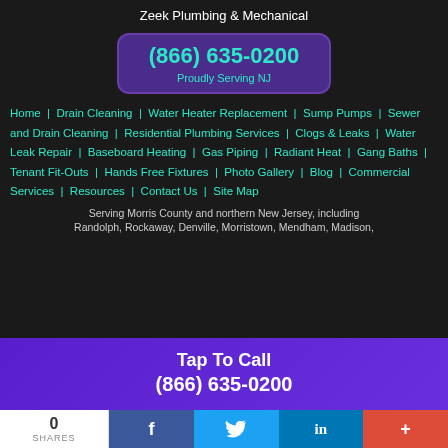Zeek Plumbing & Mechanical
(866) 635-0200
Proudly Serving NJ
Home | Drain Cleaning | Water Heater Replacement | Sump Pumps | Sewer and Drain Cleaning | Residential Plumbing Services | Clogs & Leaks | Water Leak Repair | Baseboard Heating | Gas Piping | Radiant Heat | Gang Baths | Tenant Fit-Outs | Hands Free Fixtures | Photo Gallery | Blog | Commercial Services | Resources | Contact Us | Site Map
Serving Morris County and northern New Jersey, including Randolph, Rockaway, Denville, Morristown, Mendham, Madison,
Tap To Call
(866) 635-0200
0
SHARES